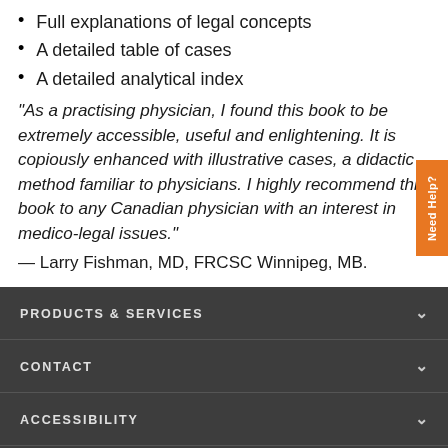Full explanations of legal concepts
A detailed table of cases
A detailed analytical index
"As a practising physician, I found this book to be extremely accessible, useful and enlightening. It is copiously enhanced with illustrative cases, a didactic method familiar to physicians. I highly recommend this book to any Canadian physician with an interest in medico-legal issues."
— Larry Fishman, MD, FRCSC Winnipeg, MB.
PRODUCTS & SERVICES
CONTACT
ACCESSIBILITY
CONNECT WITH THOMSON REUTERS